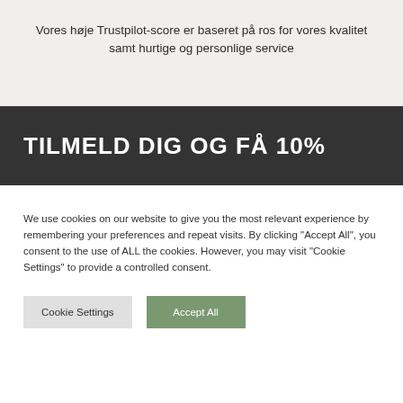Vores høje Trustpilot-score er baseret på ros for vores kvalitet samt hurtige og personlige service
TILMELD DIG OG FÅ 10%
We use cookies on our website to give you the most relevant experience by remembering your preferences and repeat visits. By clicking "Accept All", you consent to the use of ALL the cookies. However, you may visit "Cookie Settings" to provide a controlled consent.
Cookie Settings | Accept All